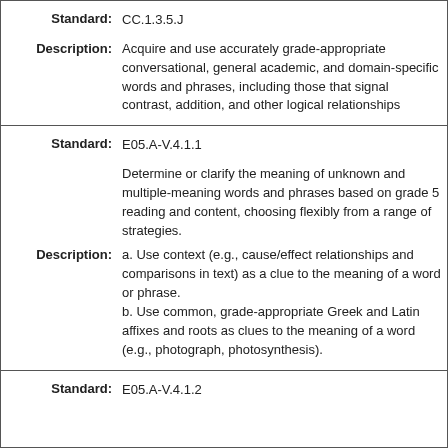Standard: CC.1.3.5.J
Description: Acquire and use accurately grade-appropriate conversational, general academic, and domain-specific words and phrases, including those that signal contrast, addition, and other logical relationships
Standard: E05.A-V.4.1.1
Description: Determine or clarify the meaning of unknown and multiple-meaning words and phrases based on grade 5 reading and content, choosing flexibly from a range of strategies. a. Use context (e.g., cause/effect relationships and comparisons in text) as a clue to the meaning of a word or phrase. b. Use common, grade-appropriate Greek and Latin affixes and roots as clues to the meaning of a word (e.g., photograph, photosynthesis).
Standard: E05.A-V.4.1.2